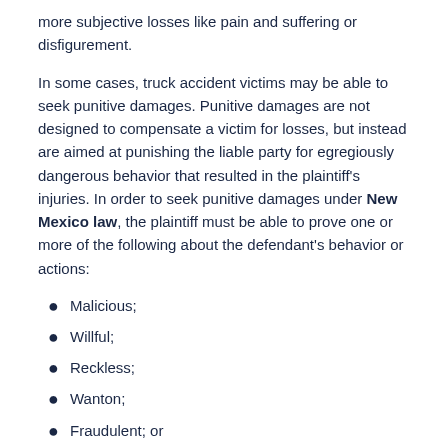more subjective losses like pain and suffering or disfigurement.
In some cases, truck accident victims may be able to seek punitive damages. Punitive damages are not designed to compensate a victim for losses, but instead are aimed at punishing the liable party for egregiously dangerous behavior that resulted in the plaintiff's injuries. In order to seek punitive damages under New Mexico law, the plaintiff must be able to prove one or more of the following about the defendant's behavior or actions:
Malicious;
Willful;
Reckless;
Wanton;
Fraudulent; or
In bad faith.